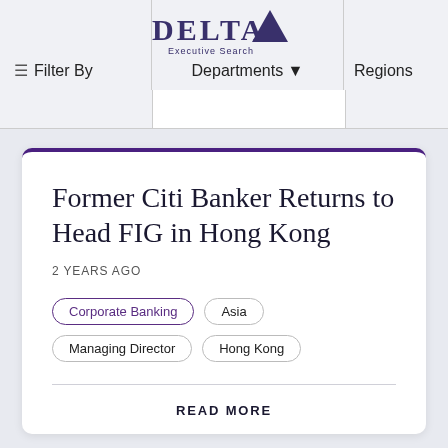Filter By   Departments ▾   Regions
Former Citi Banker Returns to Head FIG in Hong Kong
2 YEARS AGO
Corporate Banking
Asia
Managing Director
Hong Kong
READ MORE